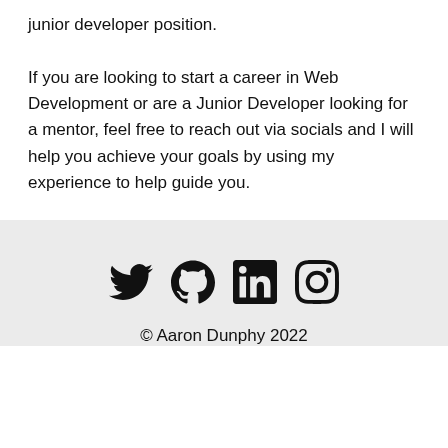junior developer position.

If you are looking to start a career in Web Development or are a Junior Developer looking for a mentor, feel free to reach out via socials and I will help you achieve your goals by using my experience to help guide you.
[Figure (other): Four social media icons in a row: Twitter (bird), GitHub (octocat), LinkedIn (in box), Instagram (camera)]
© Aaron Dunphy 2022